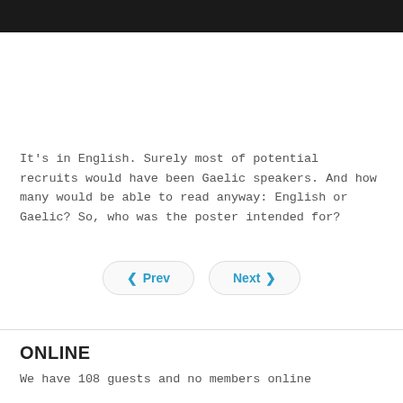It's in English. Surely most of potential recruits would have been Gaelic speakers. And how many would be able to read anyway: English or Gaelic? So, who was the poster intended for?
◀ Prev   Next ▶
ONLINE
We have 108 guests and no members online